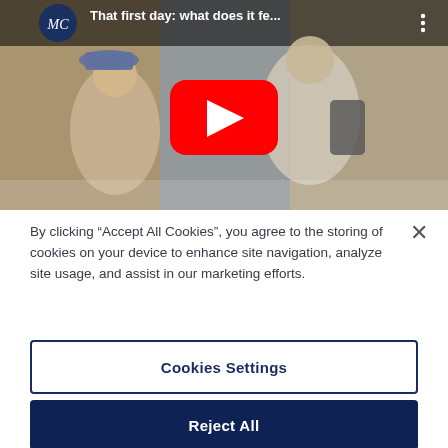[Figure (screenshot): YouTube video thumbnail showing students on first day of school. Title reads 'That first day: what does it fe...' with MC logo circle in top left and three-dot menu in top right. Red YouTube play button in center.]
By clicking “Accept All Cookies”, you agree to the storing of cookies on your device to enhance site navigation, analyze site usage, and assist in our marketing efforts.
Cookies Settings
Reject All